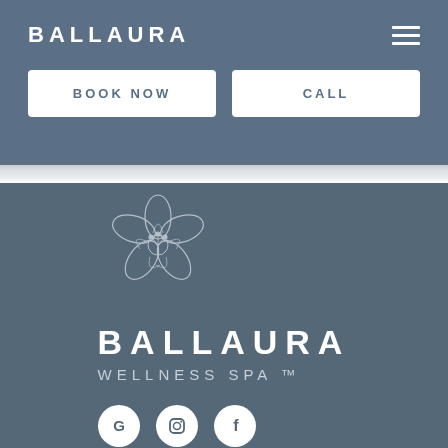BALLAURA
BOOK NOW
CALL
[Figure (logo): Ballaura Wellness Spa logo: a sketched hibiscus flower outline in white on slate-blue background, with text BALLAURA and WELLNESS SPA ™ below]
BALLAURA
WELLNESS SPA ™
[Figure (other): Social media icons: Google (G), Instagram (camera), Facebook (f) — white circles on slate background]